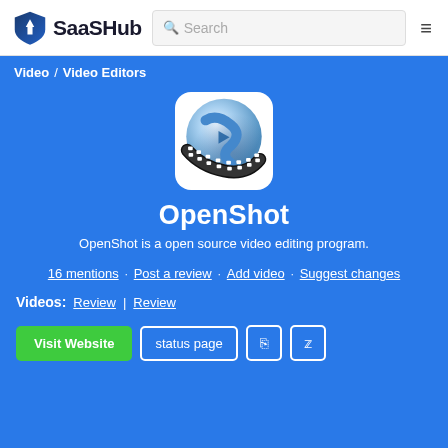SaaSHub | Search
Video / Video Editors
[Figure (logo): OpenShot video editor logo: blue/white sphere with a film strip wrapped around it]
OpenShot
OpenShot is a open source video editing program.
16 mentions · Post a review · Add video · Suggest changes
Videos: Review | Review
Visit Website | status page | RSS | Twitter